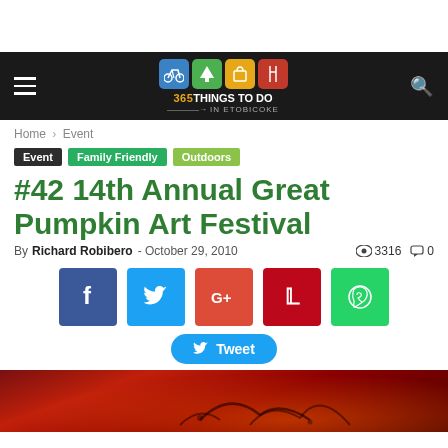365 Things To Do In Etobicoke
Home › Event
Event   Family Friendly   Outdoors
#42 14th Annual Great Pumpkin Art Festival
By Richard Robibero - October 29, 2010   3316   0
[Figure (infographic): Social share buttons: Facebook, Twitter, Google+, Pinterest, WhatsApp, and a Tweet button]
[Figure (photo): Bottom portion of a decorative pumpkin with dark red/orange background and artistic scroll designs]